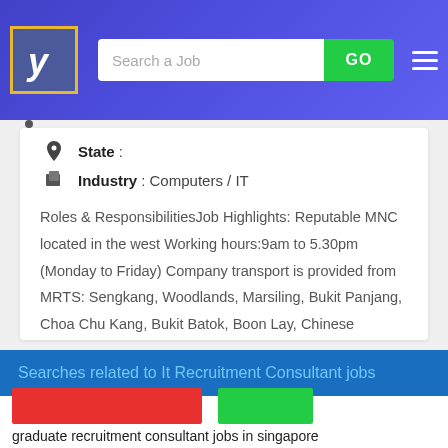[Figure (screenshot): Navigation bar with logo (stylized Y on blue/gold), search field 'Search a Job', GO button in green, and hamburger menu icon on blue gradient background]
State :
Industry : Computers / IT
Roles & ResponsibilitiesJob Highlights: Reputable MNC located in the west Working hours:9am to 5.30pm (Monday to Friday) Company transport is provided from MRTS: Sengkang, Woodlands, Marsiling, Bukit Panjang, Choa Chu Kang, Bukit Batok, Boon Lay, Chinese Garden, Jurong East, Bouna Vista, Tiong Bahru...
Searches related to It Recruitment Consultant jobs
graduate recruitment consultant jobs in singapore